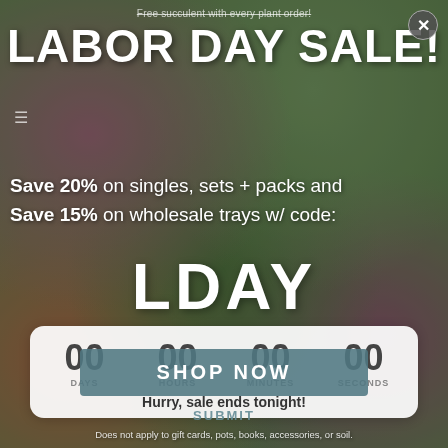[Figure (screenshot): Labor Day Sale promotional popup overlay on a succulent plants website. Green/purple succulent background with semi-transparent overlay. Shows sale details, discount code LDAY, countdown timer at 00:00:00:00, and a Shop Now button.]
Free succulent with every plant order!
LABOR DAY SALE!
Save 20% on singles, sets + packs and Save 15% on wholesale trays w/ code:
LDAY
00 DAYS  00 HOURS  00 MINUTES  00 SECONDS
Hurry, sale ends tonight!
SHOP NOW
Does not apply to gift cards, pots, books, accessories, or soil.